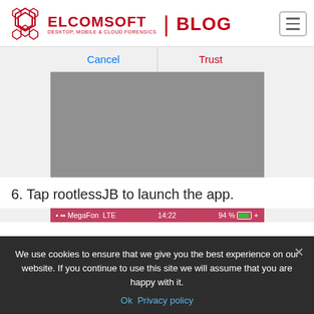ELCOMSOFT | BLOG — DESKTOP, MOBILE & CLOUD FORENSICS
[Figure (screenshot): iOS Trust/Cancel dialog screenshot — blurred iPhone screen showing a dialog with Cancel (blue) and Trust (red) buttons on a grey background]
6. Tap rootlessJB to launch the app.
[Figure (screenshot): iPhone status bar showing MegaFon LTE signal, 14:22 time, 94% battery with green bar]
We use cookies to ensure that we give you the best experience on our website. If you continue to use this site we will assume that you are happy with it.
Ok   Privacy policy